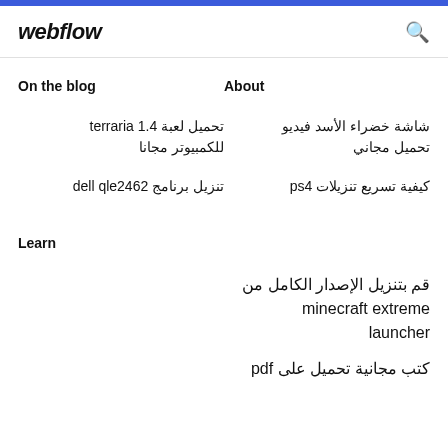webflow
On the blog
About
تحميل لعبة terraria 1.4 للكمبيوتر مجانا
شاشة خضراء الأسد فيديو تحميل مجاني
تنزيل برنامج dell qle2462
كيفية تسريع تنزيلات ps4
Learn
قم بتنزيل الإصدار الكامل من minecraft extreme launcher
كتب مجانية تحميل على pdf